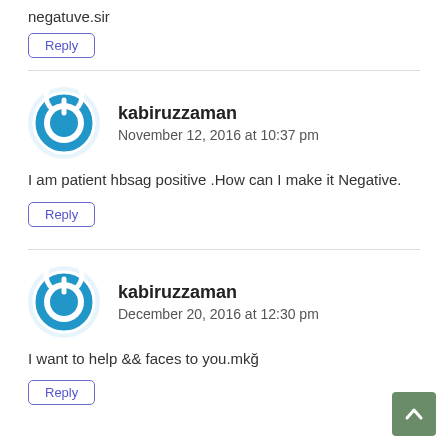negatuve.sir
Reply
kabiruzzaman
November 12, 2016 at 10:37 pm
I am patient hbsag positive .How can I make it Negative.
Reply
kabiruzzaman
December 20, 2016 at 12:30 pm
I want to help && faces to you.mkğ
Reply